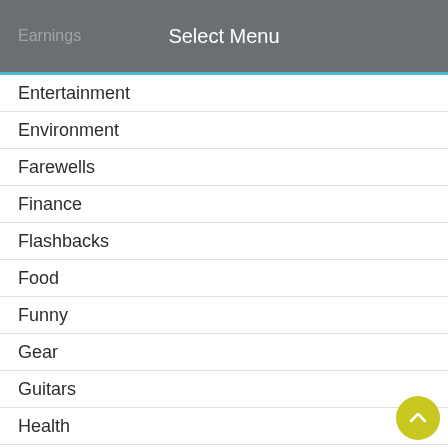Select Menu
Entertainment
Environment
Farewells
Finance
Flashbacks
Food
Funny
Gear
Guitars
Health
Help